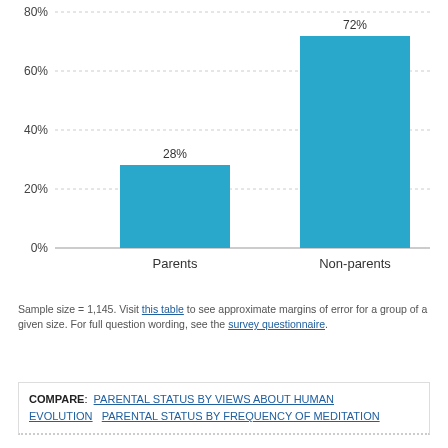[Figure (bar-chart): ]
Sample size = 1,145. Visit this table to see approximate margins of error for a group of a given size. For full question wording, see the survey questionnaire.
COMPARE: PARENTAL STATUS BY VIEWS ABOUT HUMAN EVOLUTION   PARENTAL STATUS BY FREQUENCY OF MEDITATION